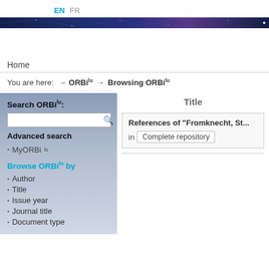EN  FR
[Figure (illustration): Dark blue/purple banner strip with network pattern]
Home
You are here:  → ORBilu  → Browsing ORBilu
Search ORBilu:
Advanced search
MyORBilu
Browse ORBilu by
Author
Title
Issue year
Journal title
Document type
Title
| References of "Fromknecht, St... | in | Complete repository |